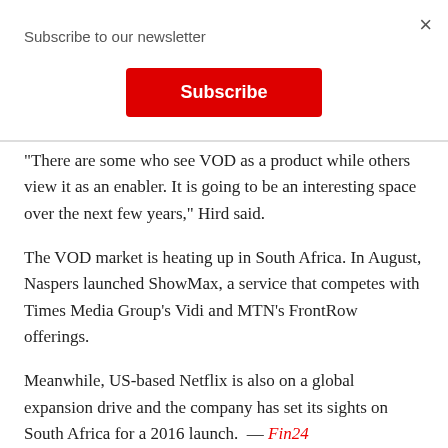Subscribe to our newsletter
[Figure (other): Red Subscribe button]
"There are some who see VOD as a product while others view it as an enabler. It is going to be an interesting space over the next few years," Hird said.
The VOD market is heating up in South Africa. In August, Naspers launched ShowMax, a service that competes with Times Media Group's Vidi and MTN's FrontRow offerings.
Meanwhile, US-based Netflix is also on a global expansion drive and the company has set its sights on South Africa for a 2016 launch.  — Fin24